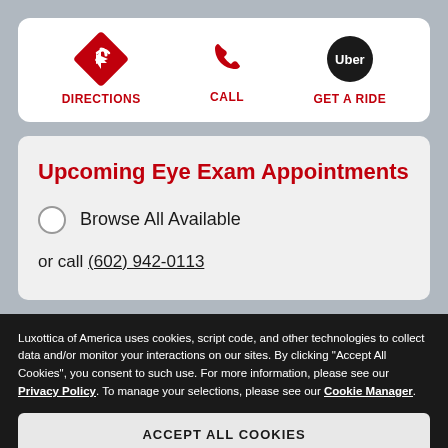[Figure (infographic): Three action buttons: DIRECTIONS (red diamond with arrow icon), CALL (red phone icon), GET A RIDE (Uber black circle logo)]
Upcoming Eye Exam Appointments
Browse All Available
or call (602) 942-0113
Luxottica of America uses cookies, script code, and other technologies to collect data and/or monitor your interactions on our sites. By clicking "Accept All Cookies", you consent to such use. For more information, please see our Privacy Policy. To manage your selections, please see our Cookie Manager.
ACCEPT ALL COOKIES